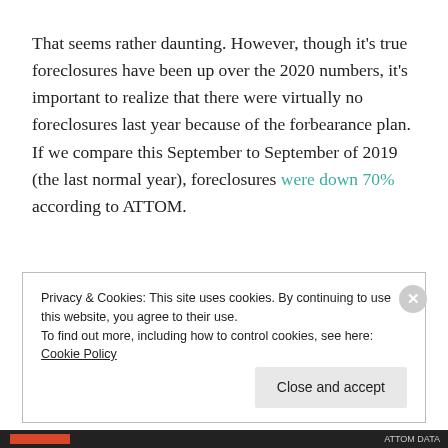That seems rather daunting. However, though it's true foreclosures have been up over the 2020 numbers, it's important to realize that there were virtually no foreclosures last year because of the forbearance plan. If we compare this September to September of 2019 (the last normal year), foreclosures were down 70% according to ATTOM.
Privacy & Cookies: This site uses cookies. By continuing to use this website, you agree to their use.
To find out more, including how to control cookies, see here: Cookie Policy